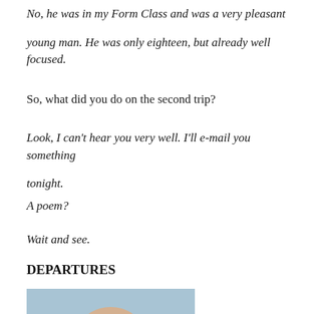No, he was in my Form Class and was a very pleasant young man.  He was only eighteen, but already well focused.
So, what did you do on the second trip?
Look, I can't hear you very well.  I'll e-mail you something tonight.
A poem?
Wait and see.
DEPARTURES
[Figure (photo): A partial photo of a middle-aged bald man, cropped at the bottom of the page, with a light blue/grey background.]